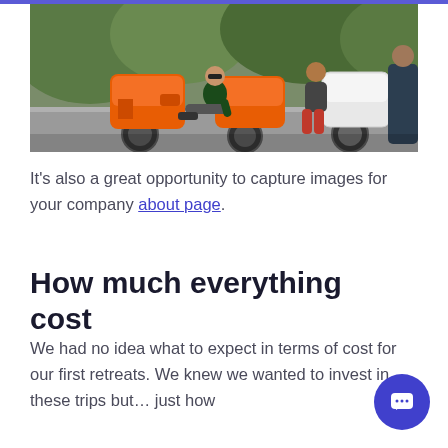[Figure (photo): Photo of people sitting and crouching on a road next to orange and white Vespa scooters, with greenery in the background. A woman in a dark hoodie sits on the ground in front of orange scooters, while a man in red pants crouches beside a white scooter on the right.]
It's also a great opportunity to capture images for your company about page.
How much everything cost
We had no idea what to expect in terms of cost for our first retreats. We knew we wanted to invest in these trips but… just how